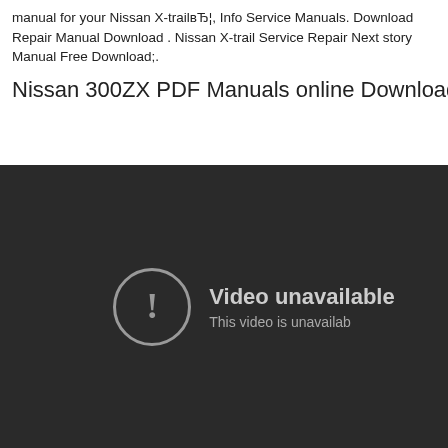manual for your Nissan X-trailвЂ¦, Info Service Manuals. Download Repair Manual Download . Nissan X-trail Service Repair Next story Manual Free Download;.
Nissan 300ZX PDF Manuals online Download Links a
[Figure (screenshot): Video unavailable screen with a circle exclamation icon and text 'Video unavailable / This video is unavailab']